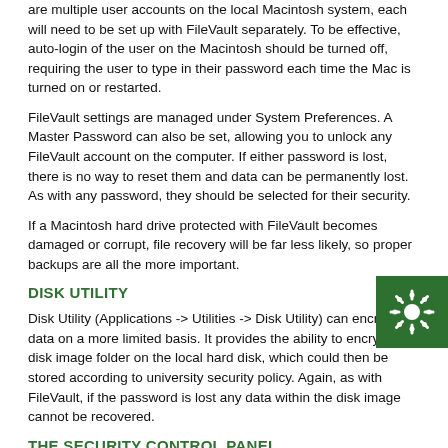are multiple user accounts on the local Macintosh system, each will need to be set up with FileVault separately. To be effective, auto-login of the user on the Macintosh should be turned off, requiring the user to type in their password each time the Mac is turned on or restarted.
FileVault settings are managed under System Preferences. A Master Password can also be set, allowing you to unlock any FileVault account on the computer. If either password is lost, there is no way to reset them and data can be permanently lost. As with any password, they should be selected for their security.
If a Macintosh hard drive protected with FileVault becomes damaged or corrupt, file recovery will be far less likely, so proper backups are all the more important.
DISK UTILITY
Disk Utility (Applications -> Utilities -> Disk Utility) can encrypt data on a more limited basis. It provides the ability to encrypt a disk image folder on the local hard disk, which could then be stored according to university security policy. Again, as with FileVault, if the password is lost any data within the disk image cannot be recovered.
THE SECURITY CONTROL PANEL
[Figure (illustration): Green square badge with a white coronavirus/gear icon in the bottom-right corner of the page]